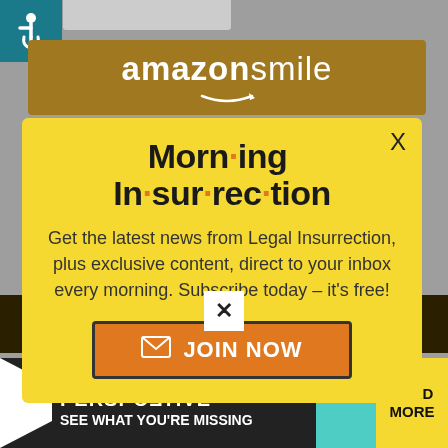[Figure (screenshot): Accessibility icon (wheelchair symbol) in teal square, top left corner]
[Figure (logo): Amazon Smile logo banner in gold/brown color with white text reading 'amazonsmile' and arrow underneath]
[Figure (screenshot): Yellow modal popup for Morning Insurrection newsletter with title 'Morn·ing In·sur·rec·tion', descriptive text, and JOIN NOW button. Has X close button top right.]
[Figure (screenshot): Bottom navigation bar area with X close button and 'Back' label in orange]
[Figure (screenshot): The Perspective advertisement banner at bottom: 'PERSP·ECTIVE SEE WHAT YOU'RE MISSING' with READ MORE button in yellow]